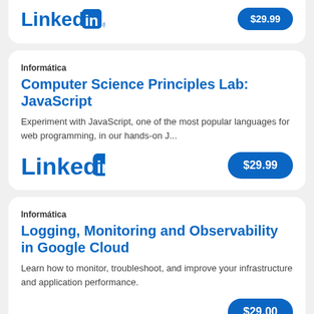[Figure (logo): LinkedIn logo (partial top card)]
$29.99
Informática
Computer Science Principles Lab: JavaScript
Experiment with JavaScript, one of the most popular languages for web programming, in our hands-on J...
[Figure (logo): LinkedIn logo]
$29.99
Informática
Logging, Monitoring and Observability in Google Cloud
Learn how to monitor, troubleshoot, and improve your infrastructure and application performance.
$29.00